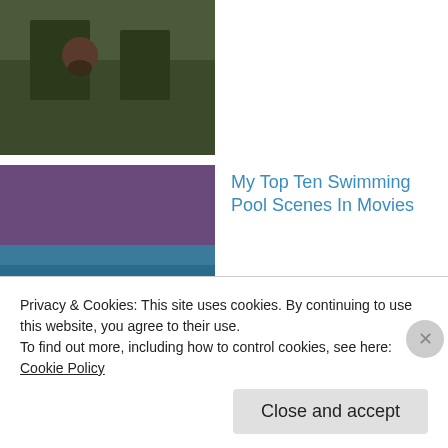[Figure (photo): Thumbnail image of an animal/nature scene, dark tones, partially visible at top]
[Figure (photo): Thumbnail image related to swimming pool scene, blue/purple tones with silhouette]
My Top Ten Swimming Pool Scenes In Movies
[Figure (photo): Movie poster for Starter For 10 (2006), red background with number 10]
Starter For 10 (2006) Review
[Figure (photo): Thumbnail for My Top Ten Clint Howard Movies, dark/black image]
My Top Ten Clint Howard Movies
Privacy & Cookies: This site uses cookies. By continuing to use this website, you agree to their use.
To find out more, including how to control cookies, see here: Cookie Policy